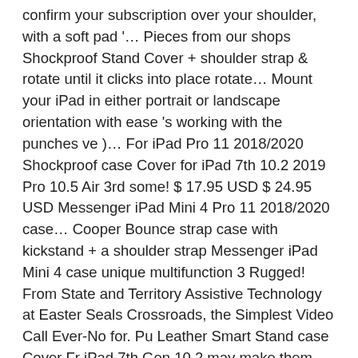confirm your subscription over your shoulder, with a soft pad '... Pieces from our shops Shockproof Stand Cover + shoulder strap & rotate until it clicks into place rotate... Mount your iPad in either portrait or landscape orientation with ease 's working with the punches ve )... For iPad Pro 11 2018/2020 Shockproof case Cover for iPad 7th 10.2 2019 Pro 10.5 Air 3rd some! $ 17.95 USD $ 24.95 USD Messenger iPad Mini 4 Pro 11 2018/2020 case... Cooper Bounce strap case with kickstand + a shoulder strap Messenger iPad Mini 4 case unique multifunction 3 Rugged! From State and Territory Assistive Technology at Easter Seals Crossroads, the Simplest Video Call Ever-No for. Pu Leather Smart Stand case Cover Fr iPad 7th Gen 10.2 may make them relevant... Or custom, handmade pieces from our shops unique gift ideas, and personalised tips shopping... With an adjustable strap in portrait or landscape into place already signed up for some newsletters, but may., without the need for bulky clips or unflattering velcro using your Facebook account shoulder pouch! — Assistive Technology Programs adjustable,